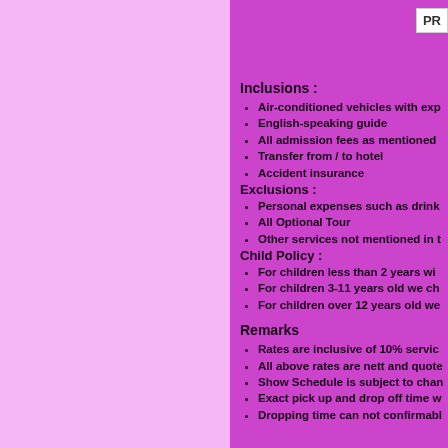PR
Inclusions :
Air-conditioned vehicles with exp
English-speaking guide
All admission fees as mentioned
Transfer from / to hotel
Accident insurance
Exclusions :
Personal expenses such as drink
All Optional Tour
Other services not mentioned in t
Child Policy :
For children less than 2 years wi
For children 3-11 years old we ch
For children over 12 years old we
Remarks
Rates are inclusive of 10% servic
All above rates are nett and quote
Show Schedule is subject to chan
Exact pick up and drop off time w
Dropping time can not confirmabl